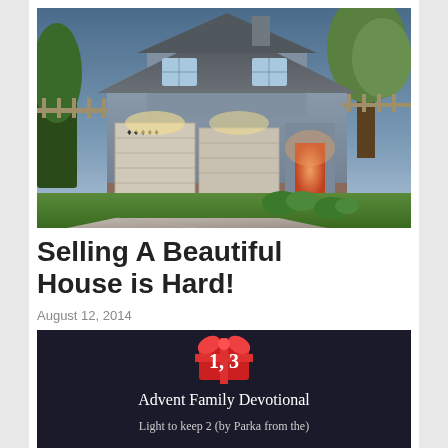[Figure (photo): Exterior photo of a two-story suburban house at dusk with two-car garage, red front door, driveway, and landscaped lawn]
Selling A Beautiful House is Hard!
August 12, 2014
[Figure (photo): Dark background image with a red gift box icon showing '1, 3' and text reading 'Advent Family Devotional']